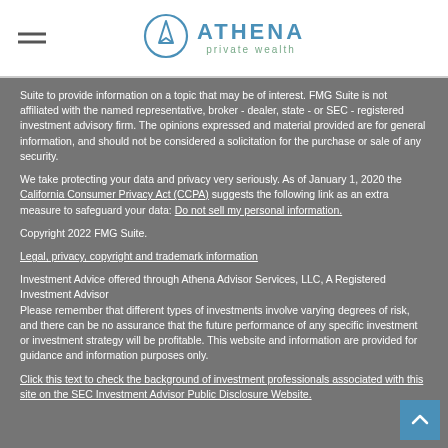ATHENA private wealth
Suite to provide information on a topic that may be of interest. FMG Suite is not affiliated with the named representative, broker - dealer, state - or SEC - registered investment advisory firm. The opinions expressed and material provided are for general information, and should not be considered a solicitation for the purchase or sale of any security.
We take protecting your data and privacy very seriously. As of January 1, 2020 the California Consumer Privacy Act (CCPA) suggests the following link as an extra measure to safeguard your data: Do not sell my personal information.
Copyright 2022 FMG Suite.
Legal, privacy, copyright and trademark information
Investment Advice offered through Athena Advisor Services, LLC, A Registered Investment Advisor
Please remember that different types of investments involve varying degrees of risk, and there can be no assurance that the future performance of any specific investment or investment strategy will be profitable. This website and information are provided for guidance and information purposes only.
Click this text to check the background of investment professionals associated with this site on the SEC Investment Advisor Public Disclosure Website.